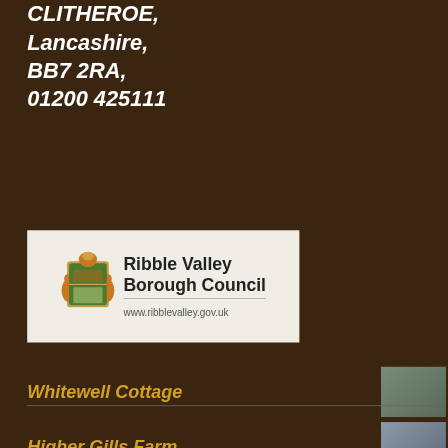CLITHEROE,
Lancashire,
BB7 2RA,
01200 425111
[Figure (logo): Ribble Valley Borough Council logo with heraldic crest and website www.ribblevalley.gov.uk]
Whitewell Cottage
Higher Gills Farm
The Inn at Whitewell
Bailey Cottage
Little Oakhurst
[Figure (photo): Ribble Valley Love promotional book cover with red moorland landscape and decorative script text reading RIBBLE VALLEY]